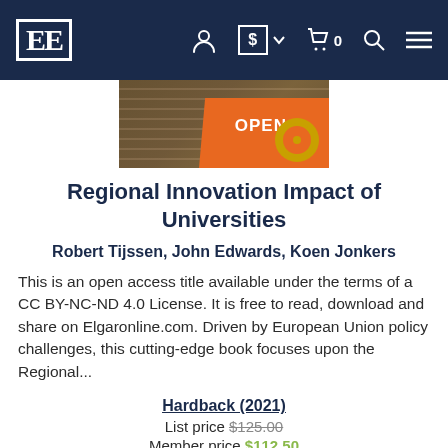EE [logo] — navigation bar with account, currency, cart (0), search, menu icons
[Figure (photo): Partial book cover image showing an orange open-access badge with a lock icon and stacked books in background]
Regional Innovation Impact of Universities
Robert Tijssen, John Edwards, Koen Jonkers
This is an open access title available under the terms of a CC BY-NC-ND 4.0 License. It is free to read, download and share on Elgaronline.com. Driven by European Union policy challenges, this cutting-edge book focuses upon the Regional...
Hardback (2021)
List price $125.00
Member price $112.50